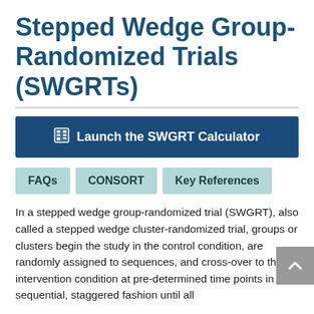Stepped Wedge Group-Randomized Trials (SWGRTs)
[Figure (other): Dark blue button: Launch the SWGRT Calculator with a calculator icon]
[Figure (other): Three teal navigation buttons: FAQs, CONSORT, Key References]
In a stepped wedge group-randomized trial (SWGRT), also called a stepped wedge cluster-randomized trial, groups or clusters begin the study in the control condition, are randomly assigned to sequences, and cross-over to the intervention condition at pre-determined time points in a sequential, staggered fashion until all